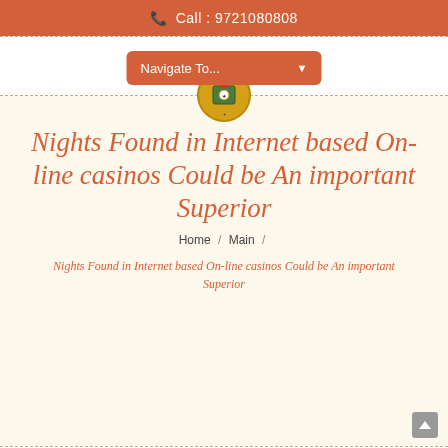Call : 9721080808
[Figure (logo): Navigate To... dropdown button in orange/rust color with down arrow]
[Figure (logo): School/institution crest badge logo overlapping the content area]
Nights Found in Internet based On-line casinos Could be An important Superior
Home / Main /
Nights Found in Internet based On-line casinos Could be An important Superior